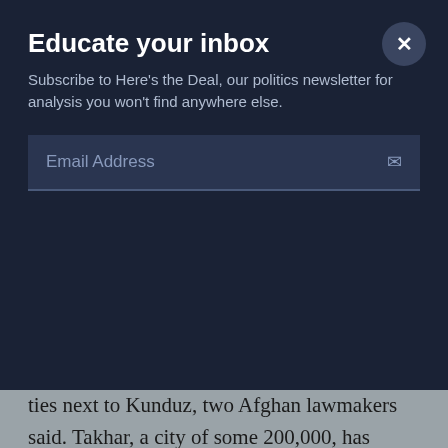Educate your inbox
Subscribe to Here's the Deal, our politics newsletter for analysis you won't find anywhere else.
Email Address
ties next to Kunduz, two Afghan lawmakers said. Takhar, a city of some 200,000, has particular significance for the anti-Taliban northern alliance fighters who joined the U.S.-led coalition to oust the religious militia in 2001.
Sayed Sharafuddin Aini, a member of the Afghan parliament from from Takhar province, said the Taliban managed to take the city in the